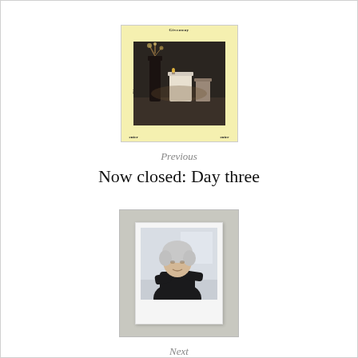[Figure (photo): Small thumbnail image with yellow border showing a still-life scene of candles/vases on a dark background, with small text labels around the border]
Previous
Now closed: Day three
[Figure (photo): Polaroid-style photograph of a woman (Deirdre Tarrant) in a dark top, set on a grey textured background]
Next
Q&A: Deirdre Tarrant